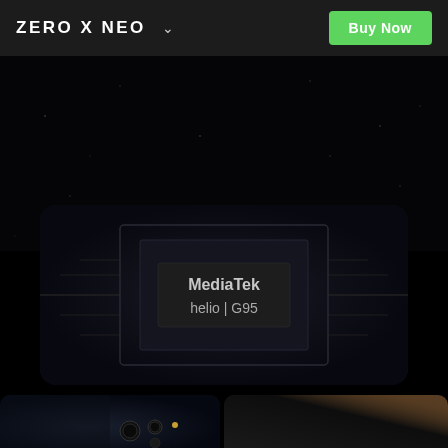ZERO X NEO
[Figure (photo): MediaTek Helio G95 chip graphic on dark background with circuit board visual effects]
[Figure (photo): Close-up of smartphone rear camera module on textured dark surface]
[Figure (photo): Close-up of smartphone edge/back with gradient color]